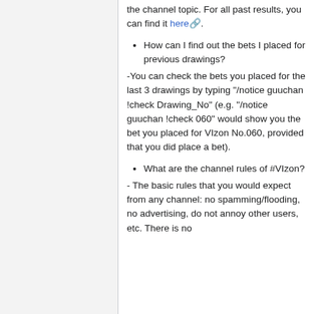the channel topic. For all past results, you can find it here.
How can I find out the bets I placed for previous drawings?
-You can check the bets you placed for the last 3 drawings by typing "/notice guuchan !check Drawing_No" (e.g. "/notice guuchan !check 060" would show you the bet you placed for VIzon No.060, provided that you did place a bet).
What are the channel rules of #VIzon?
- The basic rules that you would expect from any channel: no spamming/flooding, no advertising, do not annoy other users, etc. There is no